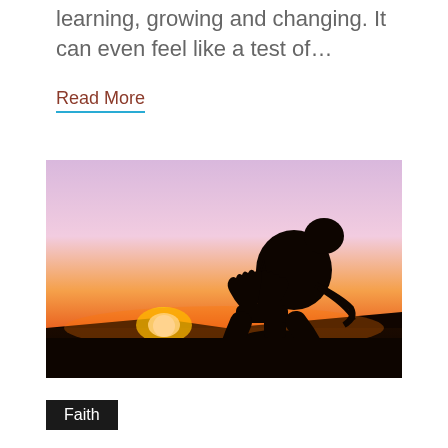learning, growing and changing. It can even feel like a test of…
Read More
[Figure (photo): Silhouette of a woman with hair in a bun, hands pressed together in prayer, photographed against a vivid sunset sky with purple, pink, orange and yellow gradient, dark landscape at the bottom.]
Faith